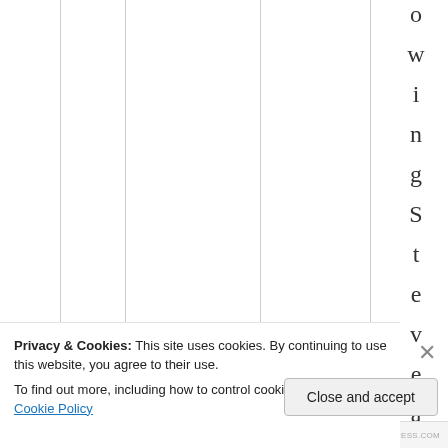owingStevea
Privacy & Cookies: This site uses cookies. By continuing to use this website, you agree to their use.
To find out more, including how to control cookies, see here: Cookie Policy
Close and accept